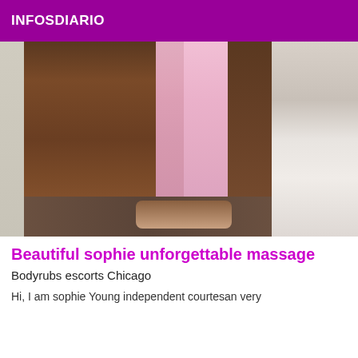INFOSDIARIO
[Figure (photo): A person standing in a room wearing a pink draped garment, photographed from below the shoulders, with white tiled floor and a bed visible in the background.]
Beautiful sophie unforgettable massage
Bodyrubs escorts Chicago
Hi, I am sophie Young independent courtesan very